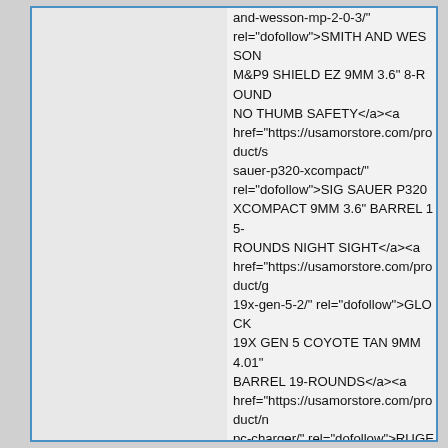and-wesson-mp-2-0-3/" rel="dofollow">SMITH AND WESSON M&P9 SHIELD EZ 9MM 3.6" 8-ROUND NO THUMB SAFETY</a><a href="https://usamorstore.com/product/s sauer-p320-xcompact/" rel="dofollow">SIG SAUER P320 XCOMPACT 9MM 3.6" BARREL 15-ROUNDS NIGHT SIGHT</a><a href="https://usamorstore.com/product/g 19x-gen-5-2/" rel="dofollow">GLOCK 19X GEN 5 COYOTE TAN 9MM 4.01" BARREL 19-ROUNDS</a><a href="https://usamorstore.com/product/n pc-charger/" rel="dofollow">RUGER PC CHARGER 9MM 6.5" BARREL 17-ROUNDS</a><a href="https://usamorstore.com/product/g 43/" rel="dofollow">GLOCK 43 BLACK 9MM 3.39-INCH 6RDS USA MADE</a><a href="https://usamorstore.com/product/fe prairie-storm/" rel="dofollow">FEDERAL PRAIRIE STORM 16 GA #6 SHOT 25-ROUNDS 2.75"</a><a href="https://usamorstore.com/product/fe speed-shok-20-gauge/" rel="dofollow">FEDERAL SPEED-SHOK 12 GA #4 SHOT 25-ROUNDS